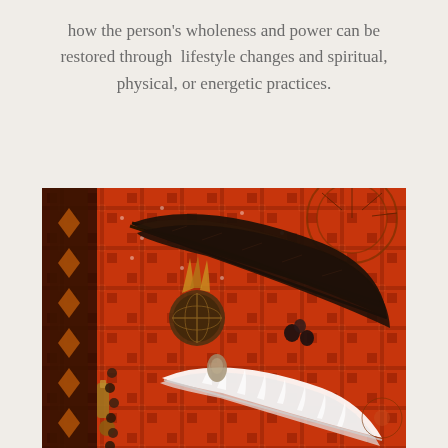how the person's wholeness and power can be restored through  lifestyle changes and spiritual, physical, or energetic practices.
[Figure (photo): A photograph of spiritual/shamanic tools laid out on a red patterned textile fabric. Items include dark feathers (likely eagle or turkey feathers), a white fluffy feather, small dark stones, decorative metal objects, beads, and other ceremonial items arranged on an ornate red and black patterned cloth.]